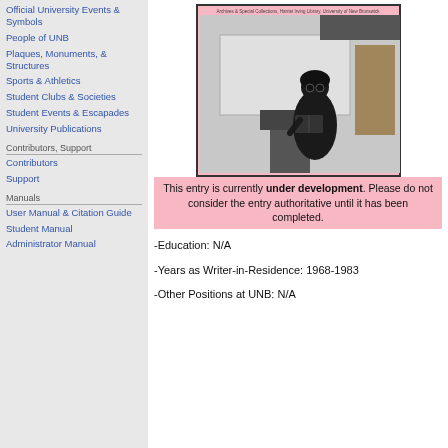Official University Events & Symbols
People of UNB
Plaques, Monuments, & Structures
Sports & Athletics
Student Clubs & Societies
Student Events & Escapades
University Publications
Contributors, Support
Contributors
Support
Manuals
User Manual & Citation Guide
Student Manual
Administrator Manual
[Figure (photo): Black and white photograph of a person standing at a podium reading from a book, in a room with a whiteboard behind them. Pink background border around the photo. Small caption text at top reads: Archives & Special Collections, Harriet Irving Library, University of New Brunswick]
This entry is currently under development. Please do not consider the entry authoritative until it has been completed.
-Education: N/A
-Years as Writer-in-Residence: 1968-1983
-Other Positions at UNB: N/A